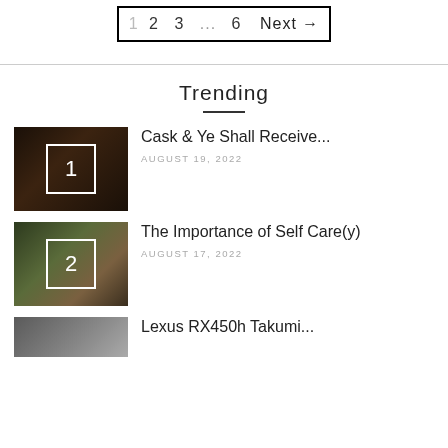1  2  3  ...  6  Next →
Trending
Cask & Ye Shall Receive... | AUGUST 19, 2022
The Importance of Self Care(y) | AUGUST 17, 2022
Lexus RX450h Takumi...